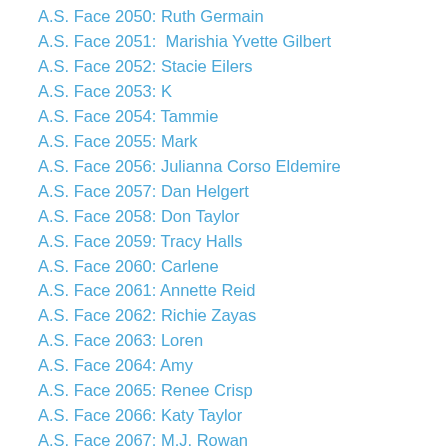A.S. Face 2050: Ruth Germain
A.S. Face 2051:  Marishia Yvette Gilbert
A.S. Face 2052: Stacie Eilers
A.S. Face 2053: K
A.S. Face 2054: Tammie
A.S. Face 2055: Mark
A.S. Face 2056: Julianna Corso Eldemire
A.S. Face 2057: Dan Helgert
A.S. Face 2058: Don Taylor
A.S. Face 2059: Tracy Halls
A.S. Face 2060: Carlene
A.S. Face 2061: Annette Reid
A.S. Face 2062: Richie Zayas
A.S. Face 2063: Loren
A.S. Face 2064: Amy
A.S. Face 2065: Renee Crisp
A.S. Face 2066: Katy Taylor
A.S. Face 2067: M.J. Rowan
A.S. Face 2068: Alisha Kennison
A.S. Face 2069: Dylan